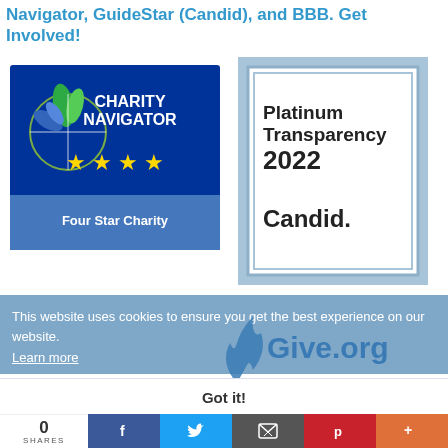Navigator, GuideStar (Candid), and BBB. Get Involved!
[Figure (logo): Charity Navigator Four Star Charity badge with blue background, star compass logo, and four gold stars]
[Figure (logo): Platinum Transparency 2022 Candid. badge with light blue border and white inner box]
This website uses cookies to ensure you get the best experience on our website.
Learn more
[Figure (logo): Give.org BBB Wise Giving Alliance logo with flame icon and text]
Got it!
0 SHARES
[Figure (infographic): Social sharing bar with Facebook, Twitter, Email, Pinterest, and More buttons]